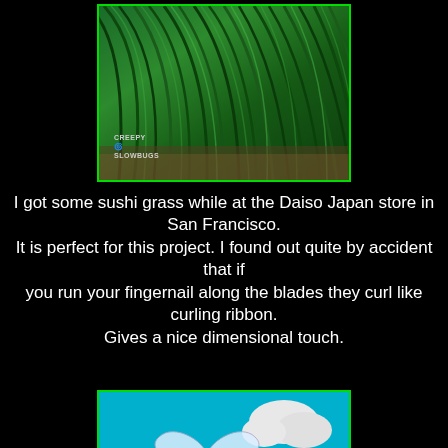[Figure (photo): Close-up photo of bright green sushi grass (plastic grass garnish), curled and twisted, with a 'Creepy Slowbugs' watermark in the lower left corner. Photo has a green border frame.]
I got some sushi grass while at the Daiso Japan store in San Francisco.
It is perfect for this project. I found out quite by accident that if
you run your fingernail along the blades they curl like curling ribbon.
Gives a nice dimensional touch.
[Figure (photo): Colorful illustration/art on fabric showing a cute skull-faced bee with heart-shaped wings hovering over skull-faced flowers (a pink lotus and an orange sunflower) against a teal/turquoise background with clouds. 'Creepy' watermark visible at bottom left. Photo has a green border frame.]